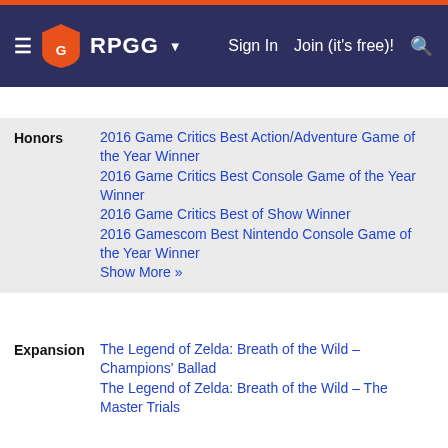RPGG | Sign In | Join (it's free)!
Honors: 2016 Game Critics Best Action/Adventure Game of the Year Winner; 2016 Game Critics Best Console Game of the Year Winner; 2016 Game Critics Best of Show Winner; 2016 Gamescom Best Nintendo Console Game of the Year Winner; Show More »
Expansion: The Legend of Zelda: Breath of the Wild – Champions' Ballad; The Legend of Zelda: Breath of the Wild – The Master Trials